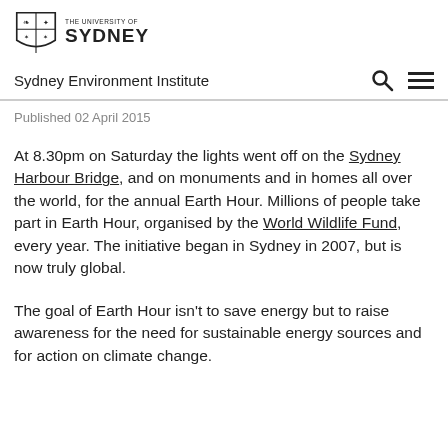[Figure (logo): University of Sydney shield logo with text 'THE UNIVERSITY OF SYDNEY']
Sydney Environment Institute
Published 02 April 2015
At 8.30pm on Saturday the lights went off on the Sydney Harbour Bridge, and on monuments and in homes all over the world, for the annual Earth Hour. Millions of people take part in Earth Hour, organised by the World Wildlife Fund, every year. The initiative began in Sydney in 2007, but is now truly global.
The goal of Earth Hour isn't to save energy but to raise awareness for the need for sustainable energy sources and for action on climate change.